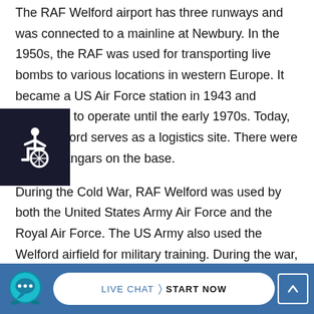The RAF Welford airport has three runways and was connected to a mainline at Newbury. In the 1950s, the RAF was used for transporting live bombs to various locations in western Europe. It became a US Air Force station in 1943 and continued to operate until the early 1970s. Today, RAF Welford serves as a logistics site. There were two T2 hangars on the base.
During the Cold War, RAF Welford was used by both the United States Army Air Force and the Royal Air Force. The US Army also used the Welford airfield for military training. During the war, both the RAFs were staffed by the same personnel. The US-Arms dump in Caerwent served as a temporary storage and unloading point. The British military station in the UK was the headquarters for a third US arms depot.
[Figure (other): Accessibility icon (wheelchair symbol) in dark navy square overlay on left side]
[Figure (other): Bottom blue bar with live chat icon, LIVE CHAT | START NOW button, and scroll-up arrow button]